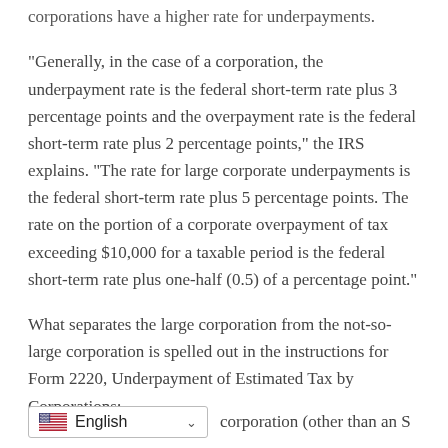corporations have a higher rate for underpayments.
“Generally, in the case of a corporation, the underpayment rate is the federal short-term rate plus 3 percentage points and the overpayment rate is the federal short-term rate plus 2 percentage points,” the IRS explains. “The rate for large corporate underpayments is the federal short-term rate plus 5 percentage points. The rate on the portion of a corporate overpayment of tax exceeding $10,000 for a taxable period is the federal short-term rate plus one-half (0.5) of a percentage point.”
What separates the large corporation from the not-so-large corporation is spelled out in the instructions for Form 2220, Underpayment of Estimated Tax by Corporations:
corporation (other than an S